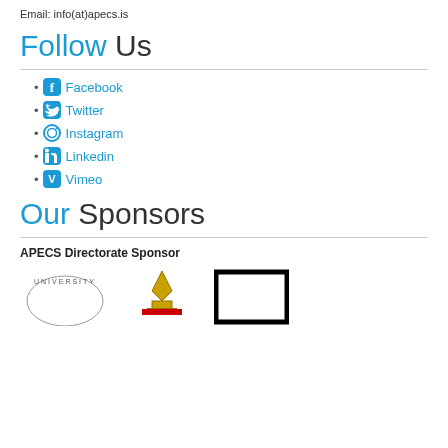Email: info(at)apecs.is
Follow Us
Facebook
Twitter
Instagram
Linkedin
Vimeo
Our Sponsors
APECS Directorate Sponsor
[Figure (logo): Three sponsor logos partially visible at bottom: a university seal, a crown/royal emblem, and a rectangular logo with black border]